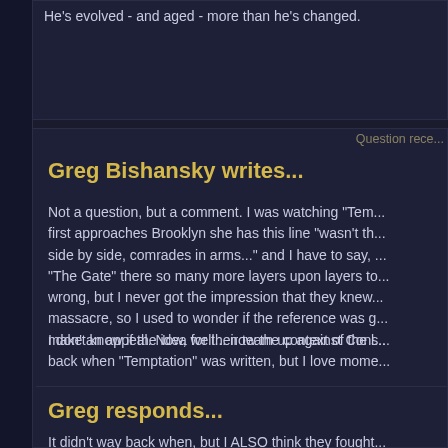He's evolved - and aged - more than he's changed.
Question rece...
Greg Bishansky writes...
Not a question, but a comment. I was watching "Tem... first approaches Brooklyn she has this line "wasn't th... side by side, comrades in arms..." and I have to say, ... "The Gate" there so many more layers upon layers to... wrong, but I never got the impression that they knew... massacre, so I used to wonder if the reference was g... make an appeal. Now, well... now the context of the l...
I don't know if the idea for their team up against Cons... back when "Temptation" was written, but I love mome...
Greg responds...
It didn't way back when, but I ALSO think they fought... Brooklyn's POV. Keep in mind there's YEARS of adv... AGES.